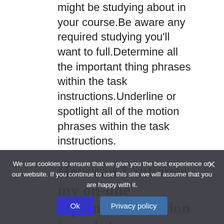might be studying about in your course.Be aware any required studying you'll want to full.Determine all the important thing phrases within the task instructions.Underline or spotlight all of the motion phrases within the task instructions.
How can I enhance my on-line diplomie discussion boards?
On-line dialogue boards are
We use cookies to ensure that we give you the best experience on our website. If you continue to use this site we will assume that you are happy with it.